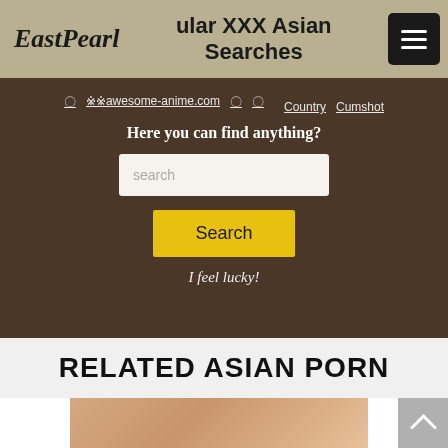EastPearl — Popular XXX Asian Searches
🈚 🈯awesome-anime.com 🈶 🈵 Country Cumshot
Here you can find anything?
search
Search
I feel lucky!
RELATED ASIAN PORN
[Figure (photo): Thumbnail image of Asian content at the bottom of the page]